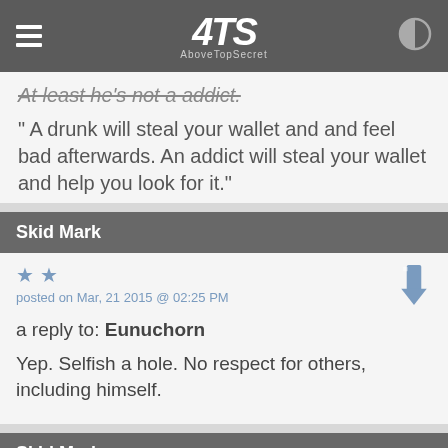ATS AboveTopSecret
At least he's not a addict.
" A drunk will steal your wallet and and feel bad afterwards. An addict will steal your wallet and help you look for it."
Skid Mark
posted on Mar, 21 2015 @ 02:25 PM
a reply to: Eunuchorn
Yep. Selfish a hole. No respect for others, including himself.
Skid Mark
posted on Mar, 21 2015 @ 02:26 PM